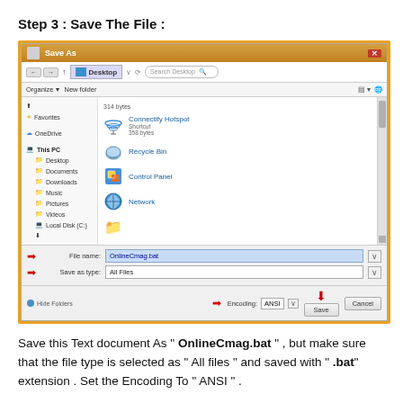Step 3 : Save The File :
[Figure (screenshot): Windows 8 'Save As' dialog box showing Desktop location, with File name field containing 'OnlineCmag.bat', Save as type set to 'All Files', and Encoding set to 'ANSI'. Red arrows point to File name, Save as type, Encoding fields, and the Save button has a red down arrow above it.]
Save this Text document As " OnlineCmag.bat " , but make sure that the file type is selected as " All files " and saved with " .bat" extension . Set the Encoding To " ANSI " .